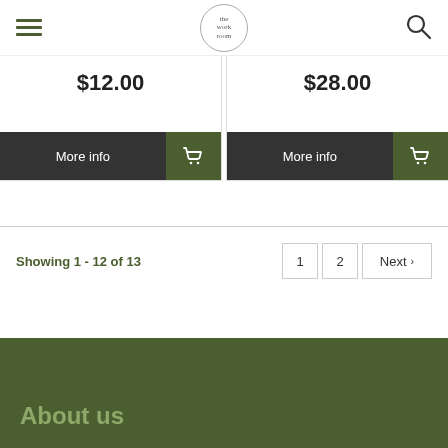Navigation header with hamburger menu, The Work Room logo, and search icon
$12.00
$28.00
More info
More info
Showing 1 - 12 of 13
1  2  Next >
About us